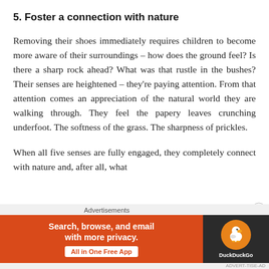5. Foster a connection with nature
Removing their shoes immediately requires children to become more aware of their surroundings – how does the ground feel? Is there a sharp rock ahead? What was that rustle in the bushes? Their senses are heightened – they're paying attention. From that attention comes an appreciation of the natural world they are walking through. They feel the papery leaves crunching underfoot. The softness of the grass. The sharpness of prickles.
When all five senses are fully engaged, they completely connect with nature and, after all, what
[Figure (other): DuckDuckGo advertisement banner with orange background on the left reading 'Search, browse, and email with more privacy. All in One Free App' and a dark right panel with the DuckDuckGo duck logo.]